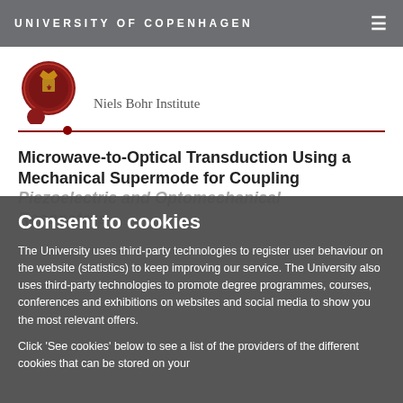UNIVERSITY OF COPENHAGEN
[Figure (logo): University of Copenhagen circular seal logo in red/dark red, with a smaller red circle below it. Niels Bohr Institute text to the right.]
Niels Bohr Institute
Microwave-to-Optical Transduction Using a Mechanical Supermode for Coupling Piezoelectric and Optomechanical Resonators
Consent to cookies
The University uses third-party technologies to register user behaviour on the website (statistics) to keep improving our service. The University also uses third-party technologies to promote degree programmes, courses, conferences and exhibitions on websites and social media to show you the most relevant offers.
Click 'See cookies' below to see a list of the providers of the different cookies that can be stored on your